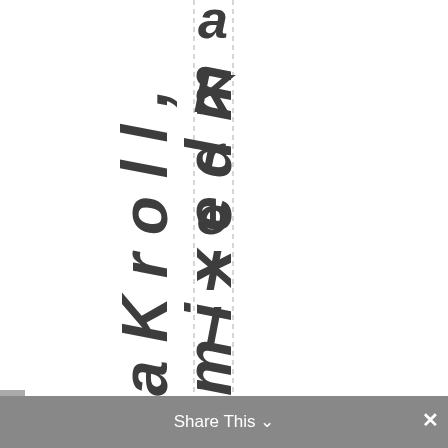[Figure (screenshot): A screenshot of a web page showing vertical rotated bold italic text reading 'a K r o l l , m i x e d m' arranged vertically with dashed guide lines, and a gray 'Share This' toolbar at the bottom with a close button.]